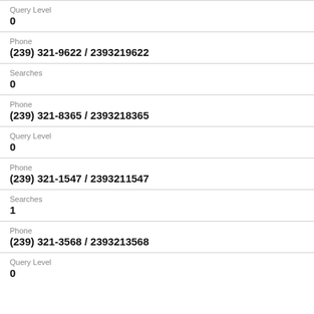Query Level
0
Phone
(239) 321-9622 / 2393219622
Searches
0
Phone
(239) 321-8365 / 2393218365
Query Level
0
Phone
(239) 321-1547 / 2393211547
Searches
1
Phone
(239) 321-3568 / 2393213568
Query Level
0